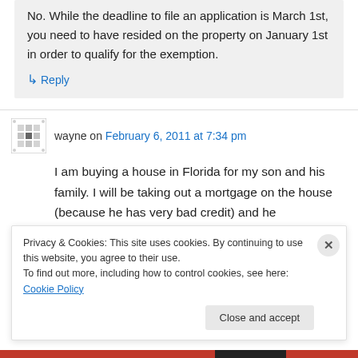No. While the deadline to file an application is March 1st, you need to have resided on the property on January 1st in order to qualify for the exemption.
↳ Reply
wayne on February 6, 2011 at 7:34 pm
I am buying a house in Florida for my son and his family. I will be taking out a mortgage on the house (because he has very bad credit) and he
Privacy & Cookies: This site uses cookies. By continuing to use this website, you agree to their use.
To find out more, including how to control cookies, see here: Cookie Policy
Close and accept